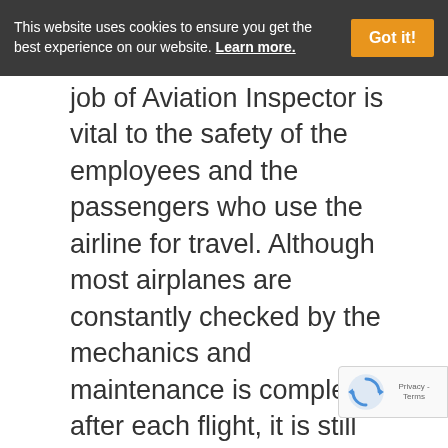This website uses cookies to ensure you get the best experience on our website. Learn more.
job of Aviation Inspector is vital to the safety of the employees and the passengers who use the airline for travel. Although most airplanes are constantly checked by the mechanics and maintenance is completed after each flight, it is still necessary for An Aviation Inspector to check the work before the next flight. Many Aviation Inspectors start out as a mechani[c]...